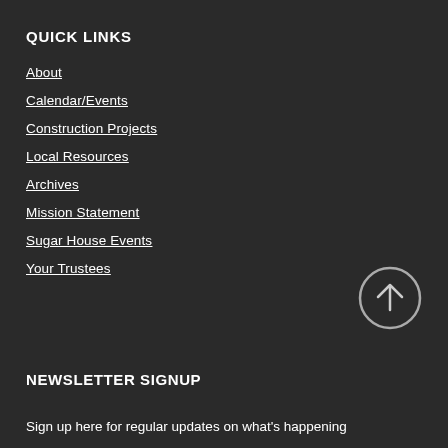QUICK LINKS
About
Calendar/Events
Construction Projects
Local Resources
Archives
Mission Statement
Sugar House Events
Your Trustees
[Figure (other): Back to top button — circular arrow icon pointing upward]
NEWSLETTER SIGNUP
Sign up here for regular updates on what's happening